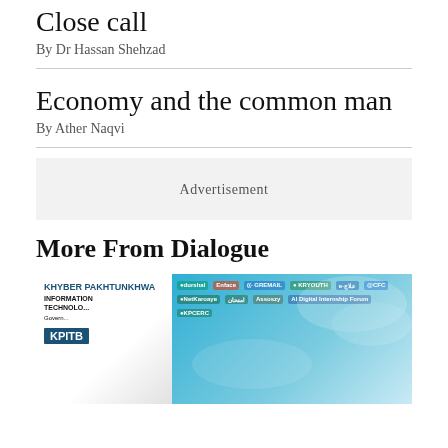Close call
By Dr Hassan Shehzad
Economy and the common man
By Ather Naqvi
Advertisement
More From Dialogue
[Figure (photo): KPITB (Khyber Pakhtunkhwa Information Technology Board) banner with logos of various digital initiatives including durshal, KRYOUTH, NetKaroaye, e-rozgar, CFC, Assoszy, KPCERC, and others on a blue sky background]